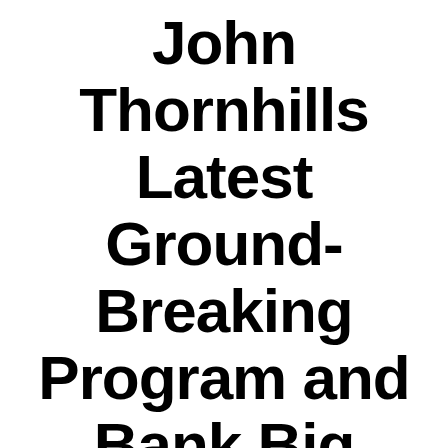John Thornhills Latest Ground-Breaking Program and Bank Big With a 5 Figure